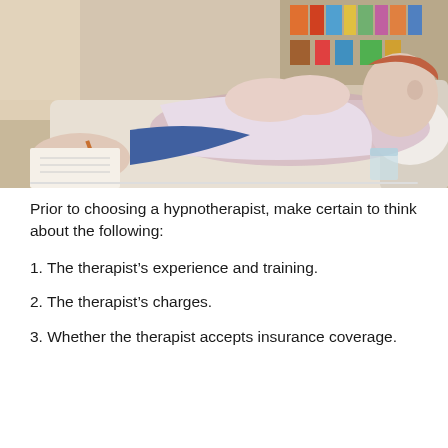[Figure (photo): A man lying on a couch in a therapy session, wearing a white button-up shirt with hands clasped, looking upward. A therapist's hand is visible holding a pencil and notepad. A glass of water is on a side table. Bookshelves visible in background.]
Prior to choosing a hypnotherapist, make certain to think about the following:
1. The therapist’s experience and training.
2. The therapist’s charges.
3. Whether the therapist accepts insurance coverage.